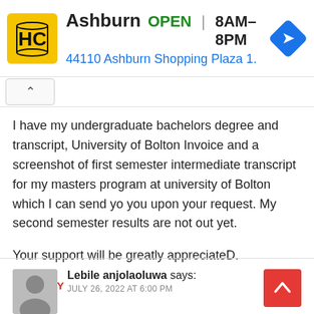[Figure (screenshot): Ad banner for HC Ashburn store showing logo, OPEN status, hours 8AM-8PM, address 44110 Ashburn Shopping Plaza 1., and a blue navigation arrow icon]
I have my undergraduate bachelors degree and transcript, University of Bolton Invoice and a screenshot of first semester intermediate transcript for my masters program at university of Bolton which I can send yo you upon your request. My second semester results are not out yet.
Your support will be greatly appreciateD.
REPLY
Lebile anjolaoluwa says:
JULY 26, 2022 AT 6:00 PM